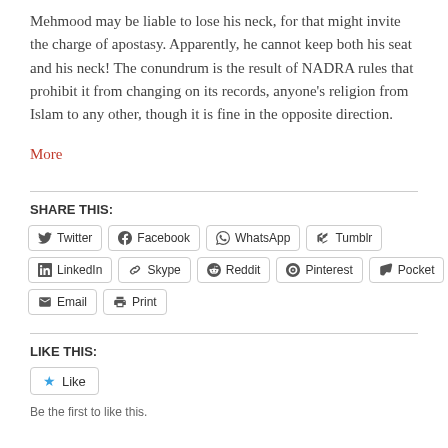Mehmood may be liable to lose his neck, for that might invite the charge of apostasy. Apparently, he cannot keep both his seat and his neck! The conundrum is the result of NADRA rules that prohibit it from changing on its records, anyone's religion from Islam to any other, though it is fine in the opposite direction.
More
SHARE THIS:
Twitter  Facebook  WhatsApp  Tumblr  LinkedIn  Skype  Reddit  Pinterest  Pocket  Email  Print
LIKE THIS:
Like
Be the first to like this.